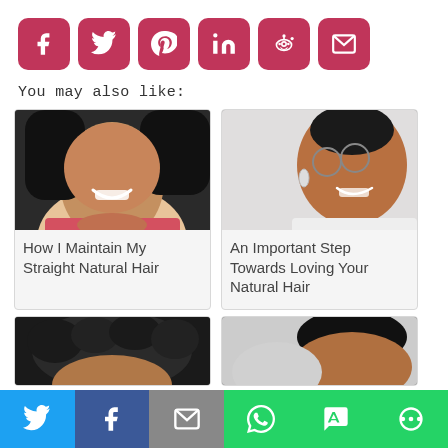[Figure (infographic): Row of 6 social media share buttons (Facebook, Twitter, Pinterest, LinkedIn, Reddit, Email) in pink/crimson rounded squares]
You may also like:
[Figure (photo): Photo of smiling Black woman with straight dark hair, pink top, close-up portrait]
How I Maintain My Straight Natural Hair
[Figure (photo): Photo of smiling Black woman with glasses and short natural hair, wearing earrings, side/front view]
An Important Step Towards Loving Your Natural Hair
[Figure (photo): Partial photo (bottom row left) showing natural curly black hair close-up]
[Figure (photo): Partial photo (bottom row right) showing natural black hair close-up]
[Figure (infographic): Bottom mobile sharing bar with Twitter (blue), Facebook (dark blue), Email (gray), WhatsApp (green), SMS (green), More (green) buttons]